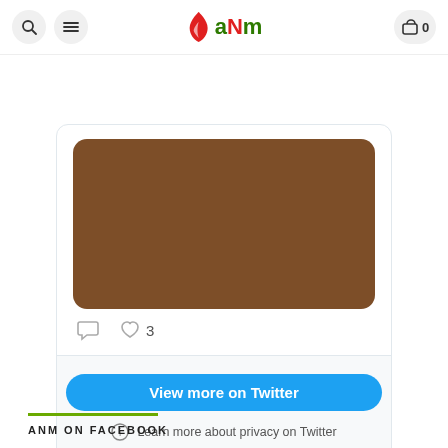aNm — header with search, menu, and cart icons
[Figure (screenshot): Twitter/X embedded card showing a brown placeholder image with comment and heart (3 likes) icons, a 'View more on Twitter' button, and a 'Learn more about privacy on Twitter' info link]
ANM ON FACEBOOK